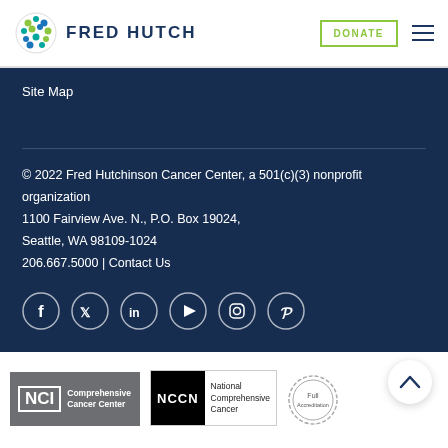FRED HUTCH
Site Map
© 2022 Fred Hutchinson Cancer Center, a 501(c)(3) nonprofit organization
1100 Fairview Ave. N., P.O. Box 19024,
Seattle, WA 98109-1024
206.667.5000 | Contact Us
[Figure (other): Social media icons: Facebook, Twitter, LinkedIn, YouTube, Instagram, Pinterest]
[Figure (logo): NCI Comprehensive Cancer Center badge, NCCN National Comprehensive Cancer badge, and a circular accreditation seal]